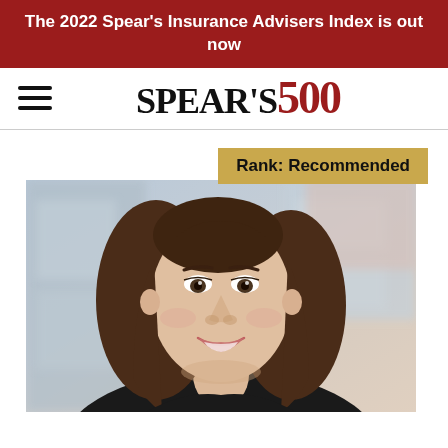The 2022 Spear's Insurance Advisers Index is out now
[Figure (logo): Spear's 500 logo with hamburger menu icon]
Rank: Recommended
[Figure (photo): Professional headshot of a woman with long dark hair, smiling, wearing a black top, with a blurred office background]